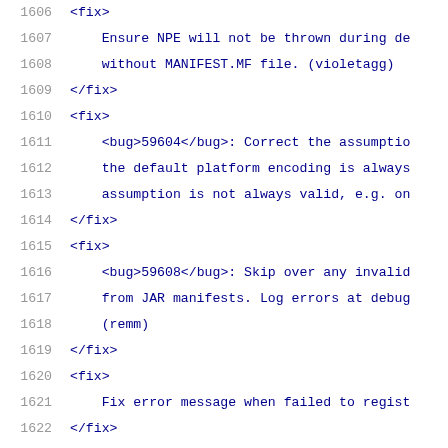1606  <fix>
1607    Ensure NPE will not be thrown during de
1608    without MANIFEST.MF file. (violetagg)
1609  </fix>
1610  <fix>
1611    <bug>59604</bug>: Correct the assumption
1612    the default platform encoding is always
1613    assumption is not always valid, e.g. on
1614  </fix>
1615  <fix>
1616    <bug>59608</bug>: Skip over any invalid
1617    from JAR manifests. Log errors at debug
1618    (remm)
1619  </fix>
1620  <fix>
1621    Fix error message when failed to regist
1622  </fix>
1623  </changelog>
1624  </subsection>
1625  <subsection name="Coyote">
1626    <changelog>